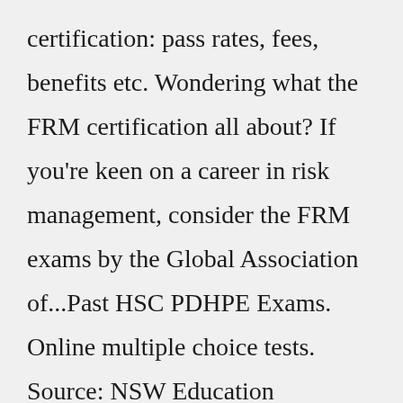certification: pass rates, fees, benefits etc. Wondering what the FRM certification all about? If you're keen on a career in risk management, consider the FRM exams by the Global Association of...Past HSC PDHPE Exams. Online multiple choice tests. Source: NSW Education Standards Authority NESA (formerly Board of Studies BOS) Download Past Exam Papers and Notes from Markers: All past HSC exam